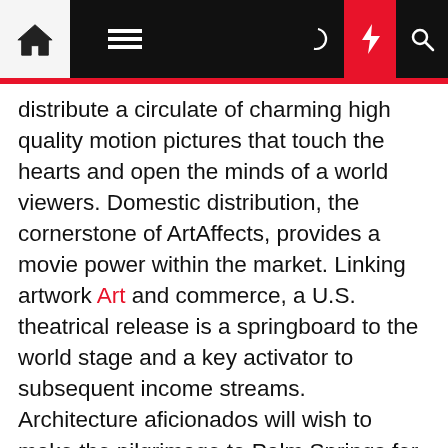[Navigation bar with home, menu, moon, bolt, and search icons]
distribute a circulate of charming high quality motion pictures that touch the hearts and open the minds of a world viewers. Domestic distribution, the cornerstone of ArtAffects, provides a movie power within the market. Linking artwork Art and commerce, a U.S. theatrical release is a springboard to the world stage and a key activator to subsequent income streams. Architecture aficionados will wish to make the pilgrimage to Palm Springs for a tour of the Mid-Century Modern masterpieces positioned there. California can be identified for its vigorous theater scene, with Tony Award–winning companies just like the Old Globe Theatre in San Diego, La Jolla Playhouse and Berkeley Repertory Theatre. Those three theaters alone have ushered dozens of performs to Broadway, together with Jersey Boys, The Who's